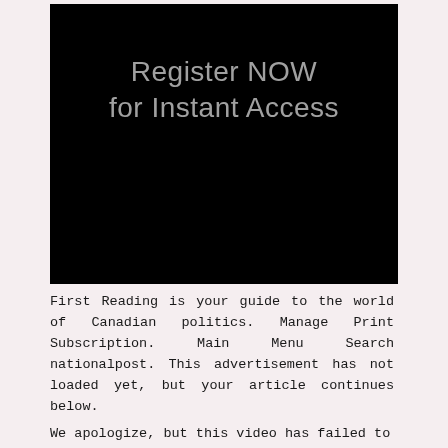[Figure (screenshot): Black background panel with gray text reading 'Register NOW for Instant Access']
First Reading is your guide to the world of Canadian politics. Manage Print Subscription. Main Menu Search nationalpost. This advertisement has not loaded yet, but your article continues below.
We apologize, but this video has failed to load. Try